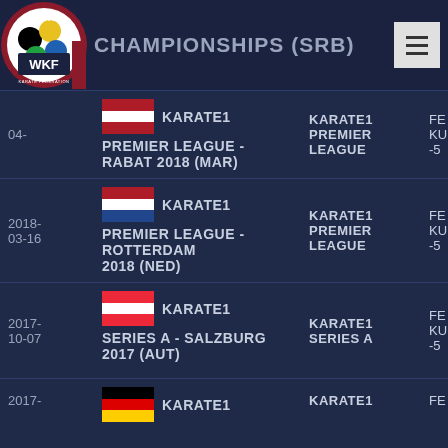CHAMPIONSHIPS (SRB)
04- | KARATE1 PREMIER LEAGUE - RABAT 2018 (MAR) | KARATE1 PREMIER LEAGUE | FE KU -5
2018-03-16 | KARATE1 PREMIER LEAGUE - ROTTERDAM 2018 (NED) | KARATE1 PREMIER LEAGUE | FE KU -5
2017-10-07 | KARATE1 SERIES A - SALZBURG 2017 (AUT) | KARATE1 SERIES A | FE KU -5
2017- | KARATE1 | KARATE1 | FE